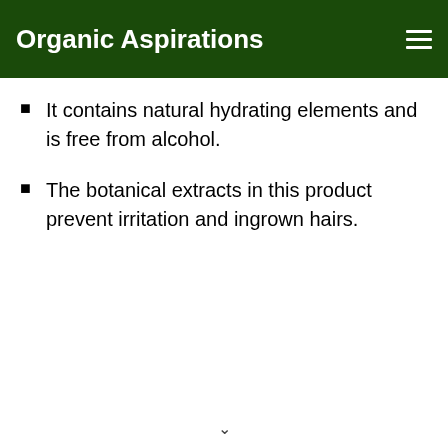Organic Aspirations
It contains natural hydrating elements and is free from alcohol.
The botanical extracts in this product prevent irritation and ingrown hairs.